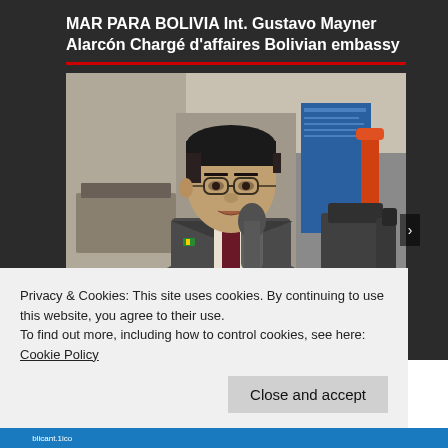MAR PARA BOLIVIA Int. Gustavo Mayner Alarcón Chargé d'affaires Bolivian embassy
[Figure (photo): Photo of a man in a dark suit with a burgundy tie and glasses, speaking at what appears to be a media event. He has dark hair and is wearing a small pin/badge on his lapel. A microphone is visible in the foreground. In the background there is a blue banner, an orange lamp, and dark chairs.]
Privacy & Cookies: This site uses cookies. By continuing to use this website, you agree to their use.
To find out more, including how to control cookies, see here: Cookie Policy
Close and accept